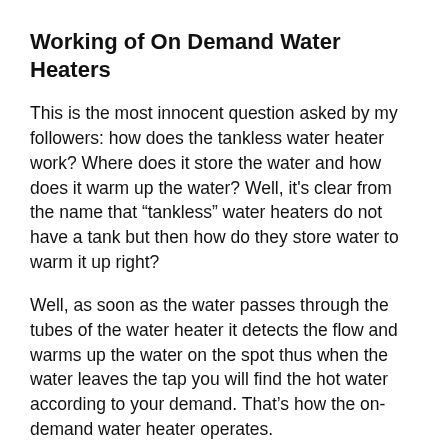Working of On Demand Water Heaters
This is the most innocent question asked by my followers: how does the tankless water heater work? Where does it store the water and how does it warm up the water? Well, it’s clear from the name that “tankless” water heaters do not have a tank but then how do they store water to warm it up right?
Well, as soon as the water passes through the tubes of the water heater it detects the flow and warms up the water on the spot thus when the water leaves the tap you will find the hot water according to your demand. That’s how the on-demand water heater operates.